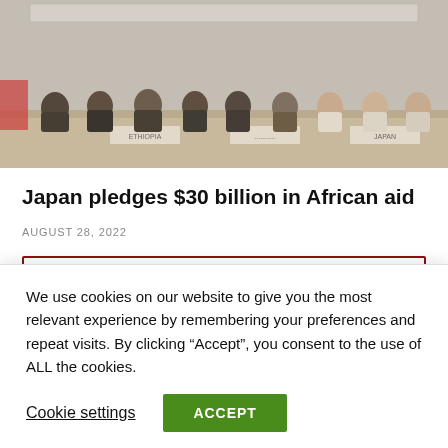[Figure (photo): Group of people seated at a conference table, appears to be a formal diplomatic or international meeting. Name placards visible on table.]
Japan pledges $30 billion in African aid
AUGUST 28, 2022
We use cookies on our website to give you the most relevant experience by remembering your preferences and repeat visits. By clicking “Accept”, you consent to the use of ALL the cookies.
Cookie settings   ACCEPT